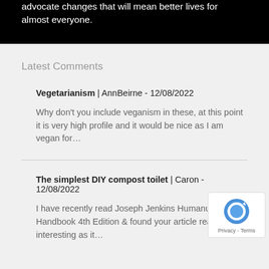advocate changes that will mean better lives for almost everyone.
Latest Comments
Vegetarianism | AnnBeirne - 12/08/2022
Why don't you include veganism in these, at this point it is very high profile and it would be nice as I am vegan for...
The simplest DIY compost toilet | Caron - 12/08/2022
I have recently read Joseph Jenkins Humanure Handbook 4th Edition & found your article really interesting as it...
[Figure (logo): Google reCAPTCHA badge with circular arrow logo and Privacy - Terms text]